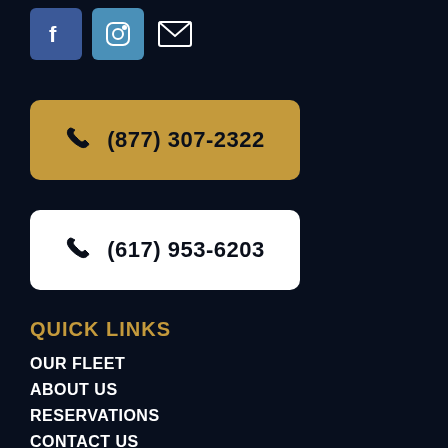[Figure (other): Social media icons: Facebook (blue square), Instagram (blue square), and email envelope icon]
(877) 307-2322
(617) 953-6203
QUICK LINKS
OUR FLEET
ABOUT US
RESERVATIONS
CONTACT US